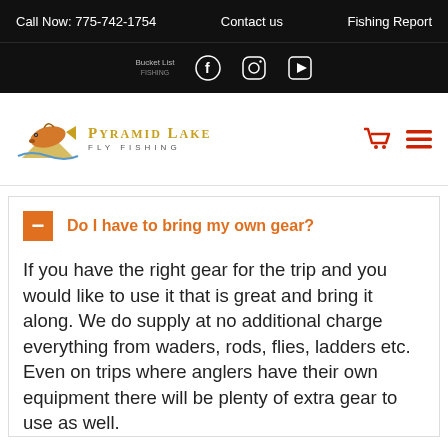Call Now: 775-742-1754   Contact us   Fishing Report
[Figure (logo): Pyramid Lake Fly Fishing logo with fish graphic]
Do I have to bring my own gear?
If you have the right gear for the trip and you would like to use it that is great and bring it along. We do supply at no additional charge everything from waders, rods, flies, ladders etc. Even on trips where anglers have their own equipment there will be plenty of extra gear to use as well.